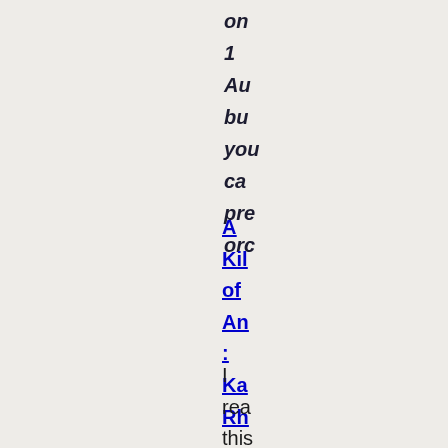on
1
Au
bu
yo
ca
pre
orc
A
Kill
of
An
:
Ka
Rh
I
rea
this
aut
det
nov
Cro
Ya